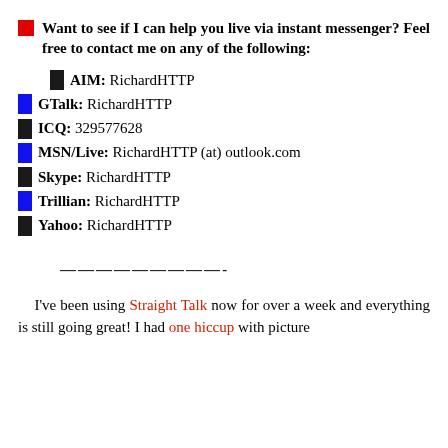Want to see if I can help you live via instant messenger? Feel free to contact me on any of the following:
AIM: RichardHTTP
GTalk: RichardHTTP
ICQ: 329577628
MSN/Live: RichardHTTP (at) outlook.com
Skype: RichardHTTP
Trillian: RichardHTTP
Yahoo: RichardHTTP
—————————-
I've been using Straight Talk now for over a week and everything is still going great! I had one hiccup with picture